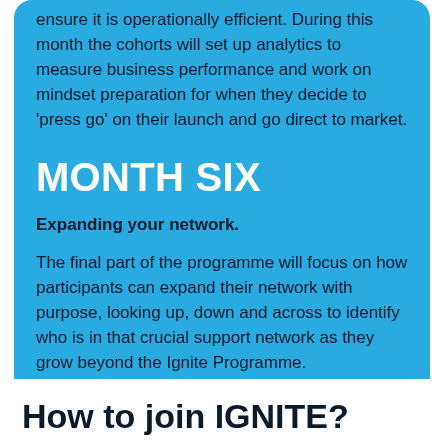ensure it is operationally efficient. During this month the cohorts will set up analytics to measure business performance and work on mindset preparation for when they decide to 'press go' on their launch and go direct to market.
MONTH SIX
Expanding your network.
The final part of the programme will focus on how participants can expand their network with purpose, looking up, down and across to identify who is in that crucial support network as they grow beyond the Ignite Programme.
How to join IGNITE?